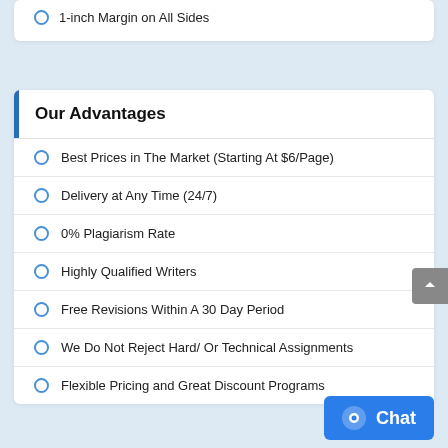1-inch Margin on All Sides
Our Advantages
Best Prices in The Market (Starting At $6/Page)
Delivery at Any Time (24/7)
0% Plagiarism Rate
Highly Qualified Writers
Free Revisions Within A 30 Day Period
We Do Not Reject Hard/ Or Technical Assignments
Flexible Pricing and Great Discount Programs